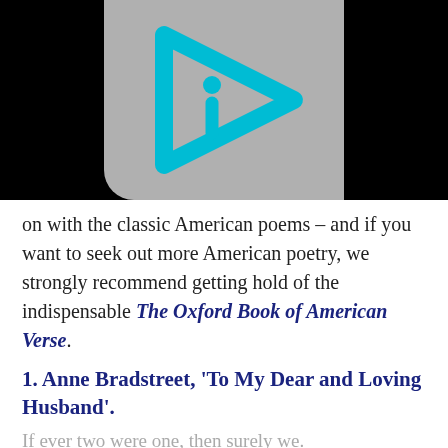[Figure (logo): A cyan/turquoise play-button style logo with an 'i' inside, on a gray background, set against a black banner background.]
on with the classic American poems – and if you want to seek out more American poetry, we strongly recommend getting hold of the indispensable The Oxford Book of American Verse.
1. Anne Bradstreet, 'To My Dear and Loving Husband'.
If ever two were one, then surely we.